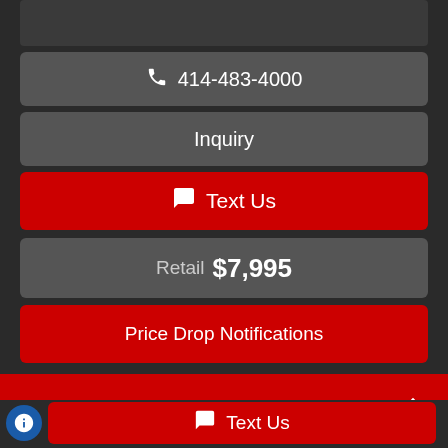📞 414-483-4000
Inquiry
💬 Text Us
Retail $7,995
Price Drop Notifications
2003 Toyota Sienna 5dr XLE (Natl)
💬 Text Us